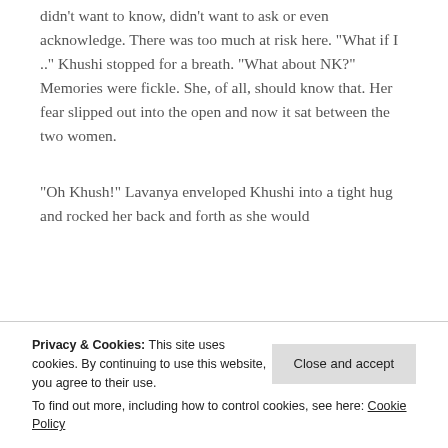Khushi shook her head. There was so much she didn't want to know, didn't want to ask or even acknowledge. There was too much at risk here. “What if I ..” Khushi stopped for a breath. “What about NK?” Memories were fickle. She, of all, should know that. Her fear slipped out into the open and now it sat between the two women.
“Oh Khush!” Lavanya enveloped Khushi into a tight hug and rocked her back and forth as she would
if you ever get something... “All of it together
Privacy & Cookies: This site uses cookies. By continuing to use this website, you agree to their use.
To find out more, including how to control cookies, see here: Cookie Policy